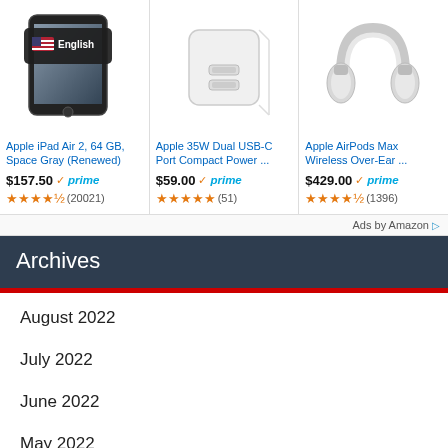[Figure (screenshot): Amazon ad for Apple iPad Air 2, 64 GB, Space Gray (Renewed) showing product image with English language overlay, price $157.50 with Prime badge, and 4.5 stars (20021 reviews)]
[Figure (screenshot): Amazon ad for Apple 35W Dual USB-C Port Compact Power Adapter showing white charger product image, price $59.00 with Prime badge, and 5 stars (51 reviews)]
[Figure (screenshot): Amazon ad for Apple AirPods Max Wireless Over-Ear headphones showing silver headphones product image, price $429.00 with Prime badge, and 4.5 stars (1396 reviews)]
Ads by Amazon
Archives
August 2022
July 2022
June 2022
May 2022
April 2022